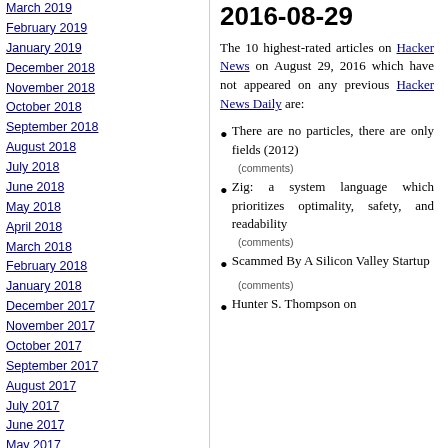March 2018
February 2019
January 2019
December 2018
November 2018
October 2018
September 2018
August 2018
July 2018
June 2018
May 2018
April 2018
March 2018
February 2018
January 2018
December 2017
November 2017
October 2017
September 2017
August 2017
July 2017
June 2017
May 2017
2016-08-29
The 10 highest-rated articles on Hacker News on August 29, 2016 which have not appeared on any previous Hacker News Daily are:
There are no particles, there are only fields (2012)
(comments)
Zig: a system language which prioritizes optimality, safety, and readability
(comments)
Scammed By A Silicon Valley Startup
(comments)
Hunter S. Thompson on